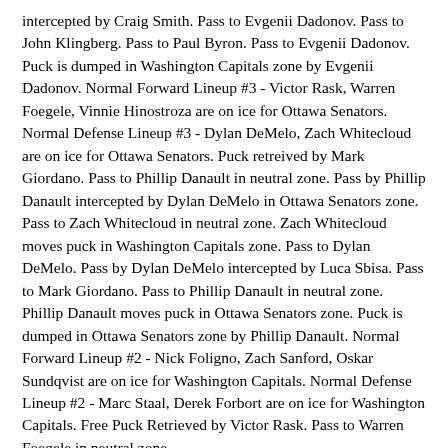intercepted by Craig Smith. Pass to Evgenii Dadonov. Pass to John Klingberg. Pass to Paul Byron. Pass to Evgenii Dadonov. Puck is dumped in Washington Capitals zone by Evgenii Dadonov. Normal Forward Lineup #3 - Victor Rask, Warren Foegele, Vinnie Hinostroza are on ice for Ottawa Senators. Normal Defense Lineup #3 - Dylan DeMelo, Zach Whitecloud are on ice for Ottawa Senators. Puck retreived by Mark Giordano. Pass to Phillip Danault in neutral zone. Pass by Phillip Danault intercepted by Dylan DeMelo in Ottawa Senators zone. Pass to Zach Whitecloud in neutral zone. Zach Whitecloud moves puck in Washington Capitals zone. Pass to Dylan DeMelo. Pass by Dylan DeMelo intercepted by Luca Sbisa. Pass to Mark Giordano. Pass to Phillip Danault in neutral zone. Phillip Danault moves puck in Ottawa Senators zone. Puck is dumped in Ottawa Senators zone by Phillip Danault. Normal Forward Lineup #2 - Nick Foligno, Zach Sanford, Oskar Sundqvist are on ice for Washington Capitals. Normal Defense Lineup #2 - Marc Staal, Derek Forbort are on ice for Washington Capitals. Free Puck Retrieved by Victor Rask. Pass to Warren Foegele in neutral zone.
Time : 2. Pass to Zach Whitecloud in Washington Capitals zone. Pass to Vinnie Hinostroza. Pass by Vinnie Hinostroza intercepted by Marc Staal. Pass to Derek Forbort in neutral zone. Puck is dumped in Ottawa Senators zone by Derek Forbort. Puck retreived by Warren Foegele. Warren Foegele is hit by Nick Foligno and